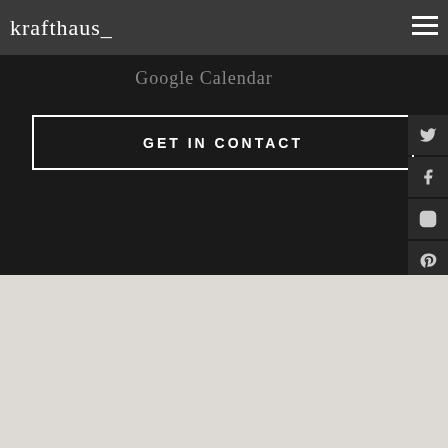krafthaus_
Google Calendar
GET IN CONTACT
[Figure (screenshot): Social media sidebar icons: Twitter, Facebook, Instagram, Pinterest, LinkedIn]